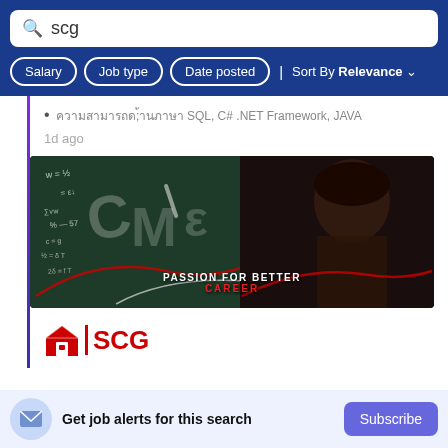scg
Salary | Job type | Date posted | Sort By Relevance
Thai characters SQL, C# .NET Framework, JAVA
1d ago
[Figure (photo): Advertisement banner showing a person pointing at a chalkboard with math equations. Text reads: PASSION FOR BETTER CAREER]
[Figure (logo): SCG logo with house icon and red SCG text]
Get job alerts for this search